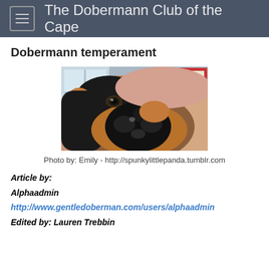The Dobermann Club of the Cape
Dobermann temperament
[Figure (photo): Close-up photo of a Dobermann dog lying down, face very close to camera showing large nose, one eye visible, tan and black coloring, with a pink/tan blanket partially over its head, indoor background visible.]
Photo by: Emily - http://spunkylittlepanda.tumblr.com
Article by:
Alphaadmin http://www.gentledoberman.com/users/alphaadmin
Edited by: Lauren Trebbin